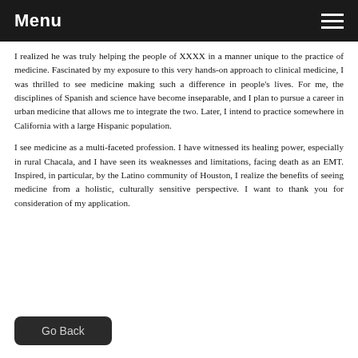Menu
I realized he was truly helping the people of XXXX in a manner unique to the practice of medicine. Fascinated by my exposure to this very hands-on approach to clinical medicine, I was thrilled to see medicine making such a difference in people's lives. For me, the disciplines of Spanish and science have become inseparable, and I plan to pursue a career in urban medicine that allows me to integrate the two. Later, I intend to practice somewhere in California with a large Hispanic population.
I see medicine as a multi-faceted profession. I have witnessed its healing power, especially in rural Chacala, and I have seen its weaknesses and limitations, facing death as an EMT. Inspired, in particular, by the Latino community of Houston, I realize the benefits of seeing medicine from a holistic, culturally sensitive perspective. I want to thank you for consideration of my application.
Go Back